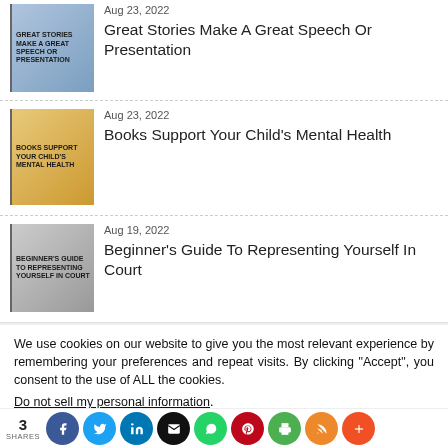[Figure (illustration): Thumbnail image for 'Great Stories Make A Great Speech Or Presentation' article dated Aug 23, 2022]
Aug 23, 2022
Great Stories Make A Great Speech Or Presentation
[Figure (illustration): Thumbnail image for 'Books Support Your Child's Mental Health' article dated Aug 23, 2022]
Aug 23, 2022
Books Support Your Child's Mental Health
[Figure (illustration): Thumbnail image for 'Beginner's Guide To Representing Yourself In Court' article dated Aug 19, 2022]
Aug 19, 2022
Beginner's Guide To Representing Yourself In Court
We use cookies on our website to give you the most relevant experience by remembering your preferences and repeat visits. By clicking “Accept”, you consent to the use of ALL the cookies.
Do not sell my personal information.
Cookie Settings  Accept
3
SHARES